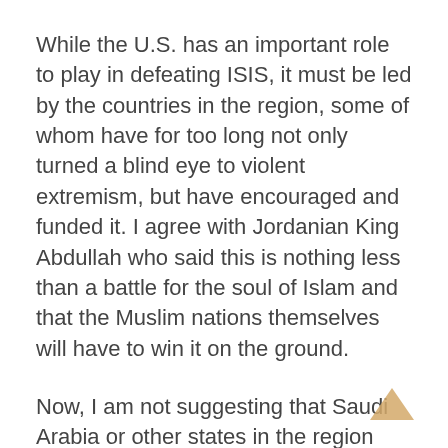While the U.S. has an important role to play in defeating ISIS, it must be led by the countries in the region, some of whom have for too long not only turned a blind eye to violent extremism, but have encouraged and funded it. I agree with Jordanian King Abdullah who said this is nothing less than a battle for the soul of Islam and that the Muslim nations themselves will have to win it on the ground.
Now, I am not suggesting that Saudi Arabia or other states in the region invade other countries, nor unilaterally intervene in conflicts driven in part by sectarian tensions.
What I am saying is that the major powers in the region – especially the Gulf States – have to take greater responsibility for the future of the Middle